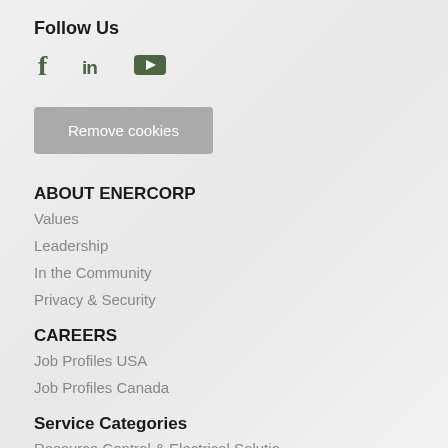Follow Us
[Figure (illustration): Social media icons: Facebook (f), LinkedIn (in), YouTube (play button)]
Remove cookies
ABOUT ENERCORP
Values
Leadership
In the Community
Privacy & Security
CAREERS
Job Profiles USA
Job Profiles Canada
Service Categories
Resource Control & Electrical Solutions